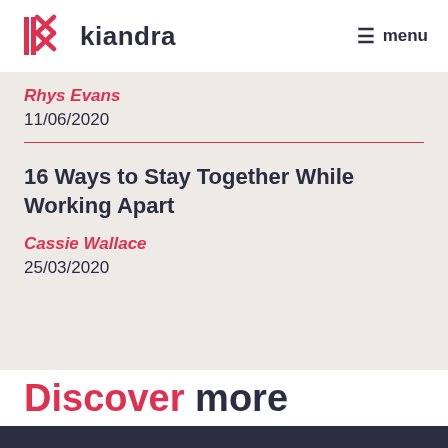kiandra | menu
Rhys Evans
11/06/2020
16 Ways to Stay Together While Working Apart
Cassie Wallace
25/03/2020
Discover more